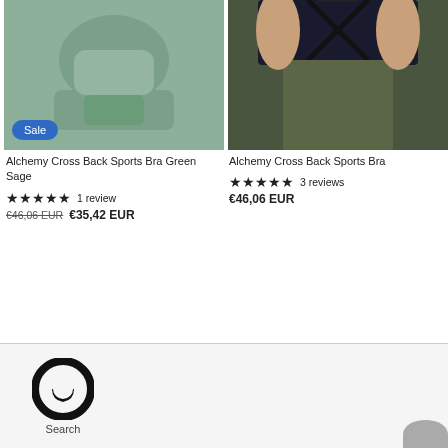[Figure (photo): Woman wearing green sage sports bra, cropped top view, with blue Sale badge overlay]
[Figure (photo): Woman's back showing black cross-back sports bra and dark olive green shorts/leggings]
Alchemy Cross Back Sports Bra Green Sage
Alchemy Cross Back Sports Bra
5.00 stars  1 review
5.00 stars  3 reviews
€46,06 EUR  €35,42 EUR
€46,06 EUR
[Figure (logo): Black circular chat/message icon logo]
Search